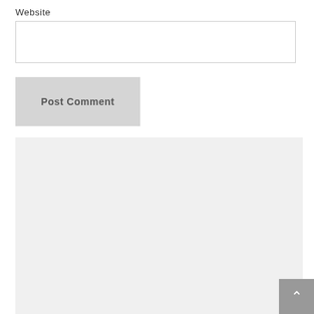Website
[Figure (screenshot): A web form input field for Website URL entry, empty text box with border]
[Figure (screenshot): A Post Comment button rendered in light grey with bold grey text]
[Figure (screenshot): A grey media player area with a black error overlay showing: Media error: Format(s) not supported or source(s) not found. Download File: https://www.ipswichwarmemorial.co.uk/wp-content/uploads/2016/02/VJ-DAY-VID.mp4?_=1]
[Figure (screenshot): A back-to-top button (grey square with white chevron arrow) in the bottom-right corner]